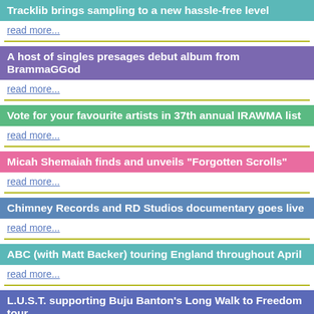Tracklib brings sampling to a new hassle-free level
read more...
A host of singles presages debut album from BrammaGGod
read more...
Vote for your favourite artists in 37th annual IRAWMA list
read more...
Micah Shemaiah finds and unveils "Forgotten Scrolls"
read more...
Chimney Records and RD Studios documentary goes live
read more...
ABC (with Matt Backer) touring England throughout April
read more...
L.U.S.T. supporting Buju Banton's Long Walk to Freedom tour
read more...
Terry Reid embarks on April/May American tour